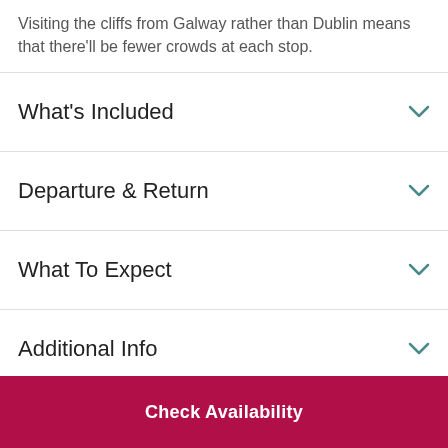Visiting the cliffs from Galway rather than Dublin means that there'll be fewer crowds at each stop.
What's Included
Departure & Return
What To Expect
Additional Info
Check Availability